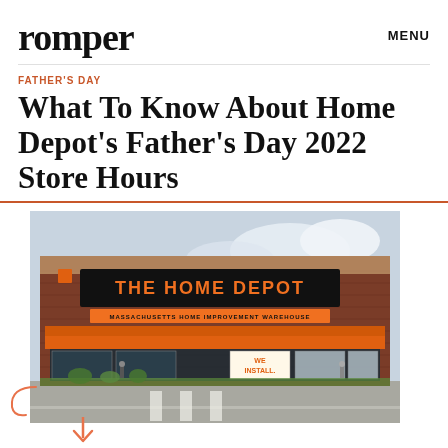romper    MENU
FATHER'S DAY
What To Know About Home Depot's Father's Day 2022 Store Hours
[Figure (photo): Exterior of a Home Depot store with orange awning and sign reading 'THE HOME DEPOT' and 'MASSACHUSETTS HOME IMPROVEMENT WAREHOUSE'. A 'WE INSTALL' sign is visible in the window.]
MediaNews Group/Boston Herald via Getty Images/MediaNews Group/Getty Images